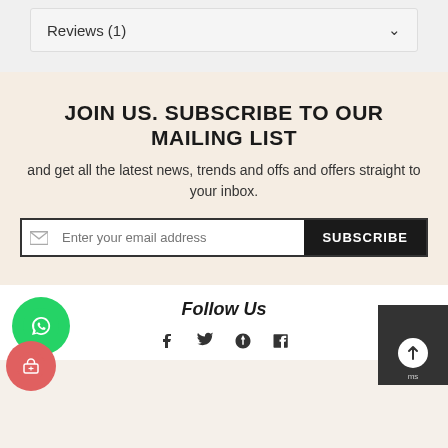Reviews (1)
JOIN US. SUBSCRIBE TO OUR MAILING LIST
and get all the latest news, trends and offs and offers straight to your inbox.
Enter your email address  SUBSCRIBE
Follow Us
[Figure (infographic): Social media icons: Facebook, Twitter, Pinterest, Tumblr]
[Figure (logo): WhatsApp floating button (green circle with phone icon)]
[Figure (logo): Shopping cart floating button (red/pink circle with basket icon)]